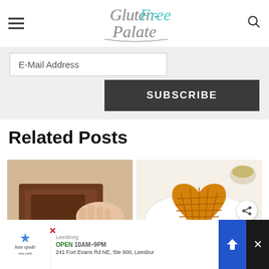Gluten-Free Palate
E-Mail Address
SUBSCRIBE
Related Posts
[Figure (photo): Thumbnail of a chocolate baked good being held by a hand]
[Figure (photo): Thumbnail of heart-shaped waffles on a plate with pecans]
[Figure (screenshot): Ad banner: Kate Spade store, Leesburg OPEN 10AM-9PM, 241 Fort Evans Rd NE Ste 900, Leesbur]